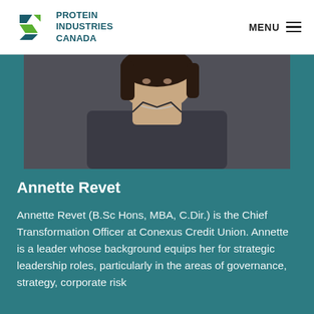PROTEIN INDUSTRIES CANADA  MENU
[Figure (photo): Headshot photo of Annette Revet, a woman with dark hair wearing a dark blazer and necklace, cropped from mid-chest upward on a dark background.]
Annette Revet
Annette Revet (B.Sc Hons, MBA, C.Dir.) is the Chief Transformation Officer at Conexus Credit Union. Annette is a leader whose background equips her for strategic leadership roles, particularly in the areas of governance, strategy, corporate risk